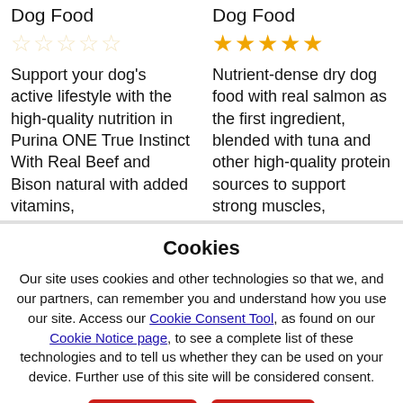Dog Food
Dog Food
★★★★★ (empty stars)
★★★★★ (4.5 filled stars)
Support your dog's active lifestyle with the high-quality nutrition in Purina ONE True Instinct With Real Beef and Bison natural with added vitamins,
Nutrient-dense dry dog food with real salmon as the first ingredient, blended with tuna and other high-quality protein sources to support strong muscles,
Cookies
Our site uses cookies and other technologies so that we, and our partners, can remember you and understand how you use our site. Access our Cookie Consent Tool, as found on our Cookie Notice page, to see a complete list of these technologies and to tell us whether they can be used on your device. Further use of this site will be considered consent.
Decline
Accept